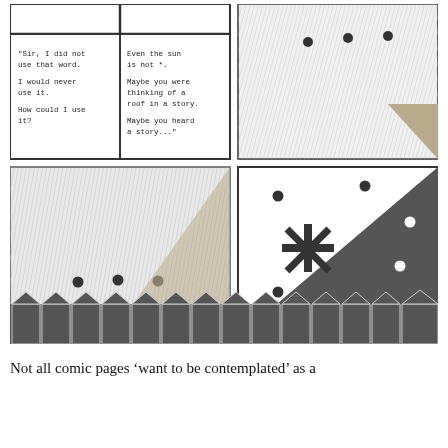[Figure (illustration): Comic book page spread with multiple panels: top-left panels show a dialogue scene with handwritten-style text ("Sir, I did not use that word. I would never use it. How could I use it?" / "Even the sun is not *. Maybe you were thinking of a roof in a story. Maybe you heard a story..."), top-right panel shows a textured/hatched surface with three dots and a triangle shape, middle-left panel shows a large textured/hatched surface with three dots and a triangle, middle-right panel shows a white/dark triangle design with an asterisk symbol and scattered dots. A bottom decorative border shows a row of dark rectangle/house shapes with white outlines.]
Not all comic pages ‘want to be contemplated’ as a